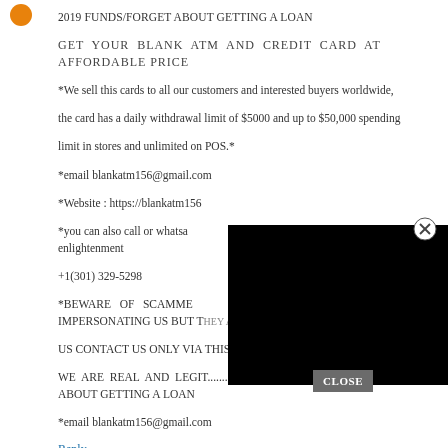2019 FUNDS/FORGET ABOUT GETTING A LOAN
GET YOUR BLANK ATM AND CREDIT CARD AT AFFORDABLE PRICE
*We sell this cards to all our customers and interested buyers worldwide, the card has a daily withdrawal limit of $5000 and up to $50,000 spending limit in stores and unlimited on POS.* *email blankatm156@gmail.com *Website : https://blankatm156... *you can also call or whatsa... enlightenment +1(301) 329-5298 *BEWARE OF SCAMME... IMPERSONATING US BUT T... HE THEY ARE NOT FROM US CONTACT US ONLY VIA THIS CONTACT * WE ARE REAL AND LEGIT...........2019 FUNDS/FORGET ABOUT GETTING A LOAN *email blankatm156@gmail.com
Reply